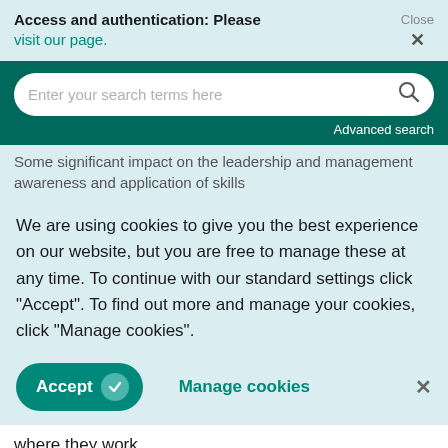Access and authentication: Please visit our page.
Enter your search terms here
Advanced search
Some significant impact on the leadership and management awareness and application of skills
We are using cookies to give you the best experience on our website, but you are free to manage these at any time. To continue with our standard settings click "Accept". To find out more and manage your cookies, click "Manage cookies".
Accept
Manage cookies
where they work.